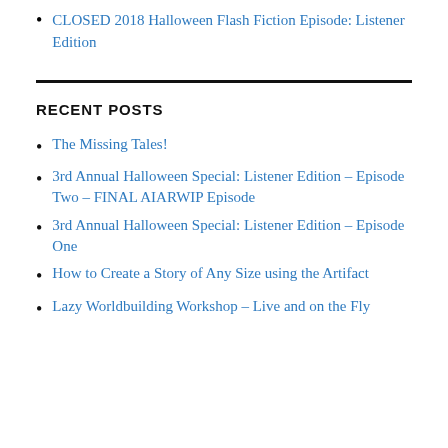CLOSED 2018 Halloween Flash Fiction Episode: Listener Edition
RECENT POSTS
The Missing Tales!
3rd Annual Halloween Special: Listener Edition – Episode Two – FINAL AIARWIP Episode
3rd Annual Halloween Special: Listener Edition – Episode One
How to Create a Story of Any Size using the Artifact
Lazy Worldbuilding Workshop – Live and on the Fly